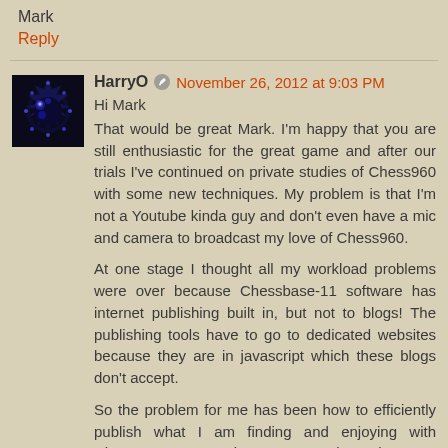Mark
Reply
HarryO   November 26, 2012 at 9:03 PM
[Figure (illustration): User avatar showing a fractal Mandelbrot set image on dark blue/black background]
Hi Mark
That would be great Mark. I'm happy that you are still enthusiastic for the great game and after our trials I've continued on private studies of Chess960 with some new techniques. My problem is that I'm not a Youtube kinda guy and don't even have a mic and camera to broadcast my love of Chess960.

At one stage I thought all my workload problems were over because Chessbase-11 software has internet publishing built in, but not to blogs! The publishing tools have to go to dedicated websites because they are in javascript which these blogs don't accept.

So the problem for me has been how to efficiently publish what I am finding and enjoying with Chess960 not wasting my own time since my readership is almost completely